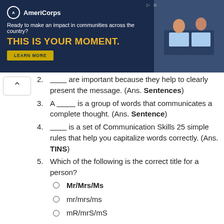[Figure (other): AmeriCorps advertisement banner with dark blue background. Logo, tagline 'Ready to make an impact in communities across the country?', headline 'THIS IS YOUR MOMENT.' with a LEARN MORE button, and a photo of students at computers on the right.]
2. _________ are important because they help to clearly present the message. (Ans. Sentences)
3. A _________ is a group of words that communicates a complete thought. (Ans. Sentence)
4. _________ is a set of Communication Skills 25 simple rules that help you capitalize words correctly. (Ans. TINS)
5. Which of the following is the correct title for a person?
Mr/Mrs/Ms
mr/mrs/ms
mR/mrS/mS